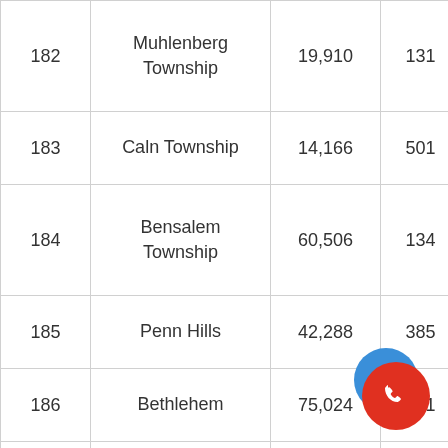| # | Name | Population | Col A | Col B |
| --- | --- | --- | --- | --- |
| 182 | Muhlenberg Township | 19,910 | 131 | 3,3… |
| 183 | Caln Township | 14,166 | 501 | 1,9… |
| 184 | Bensalem Township | 60,506 | 134 | 2,9… |
| 185 | Penn Hills | 42,288 | 385 | 2,1… |
| 186 | Bethlehem | 75,024 | 281 | 2,4… |
| 187 | East Lampeter Township | 16,879 | 107 | 3,7… |
| 188 | Plymouth | 16,693 | 246 | 3,2… |